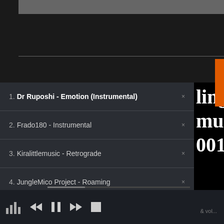[Figure (screenshot): Top dark section with image bar and horizontal divider line]
1. Dr Ruposhi - Emotion (Instrumental)
2. Frado180 - Instrumental
3. Kiralittlemusic - Retrograde
4. JungleMico Project - Roaming
5. Dj Kid Loose - Fugazi Flute
6. 2ndVerse - Tradition
ling
music
001
e's feelings,
[Figure (screenshot): Media player controls bar with bars/signal icon, rewind, pause, fast-forward, stop buttons]